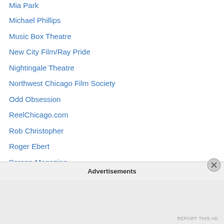Mia Park
Michael Phillips
Music Box Theatre
New City Film/Ray Pride
Nightingale Theatre
Northwest Chicago Film Society
Odd Obsession
ReelChicago.com
Rob Christopher
Roger Ebert
Screen Magazine
Screen Vistas
Seth McClellan
South Side Projections
spiderbug
The Catastrophe
The Discreet Bourgeois
Advertisements
REPORT THIS AD